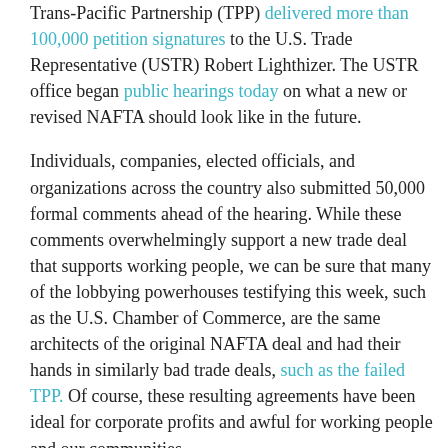Trans-Pacific Partnership (TPP) delivered more than 100,000 petition signatures to the U.S. Trade Representative (USTR) Robert Lighthizer. The USTR office began public hearings today on what a new or revised NAFTA should look like in the future.
Individuals, companies, elected officials, and organizations across the country also submitted 50,000 formal comments ahead of the hearing. While these comments overwhelmingly support a new trade deal that supports working people, we can be sure that many of the lobbying powerhouses testifying this week, such as the U.S. Chamber of Commerce, are the same architects of the original NAFTA deal and had their hands in similarly bad trade deals, such as the failed TPP. Of course, these resulting agreements have been ideal for corporate profits and awful for working people and our communities.